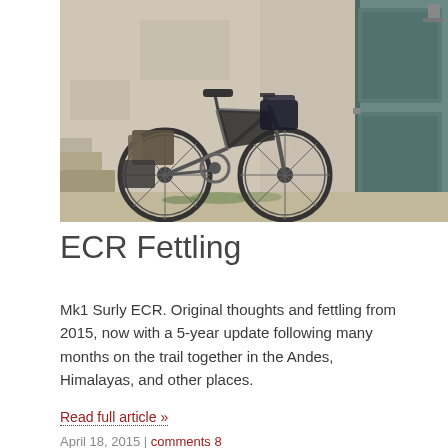[Figure (photo): A loaded touring bicycle (Surly ECR) leaning against a rough stone/plaster wall next to a weathered teal wooden door, with gear bags packed on the bike, standing on a dirt/grass ground with stone steps to the left.]
ECR Fettling
Mk1 Surly ECR. Original thoughts and fettling from 2015, now with a 5-year update following many months on the trail together in the Andes, Himalayas, and other places.
Read full article »
April 18, 2015 | comments 8